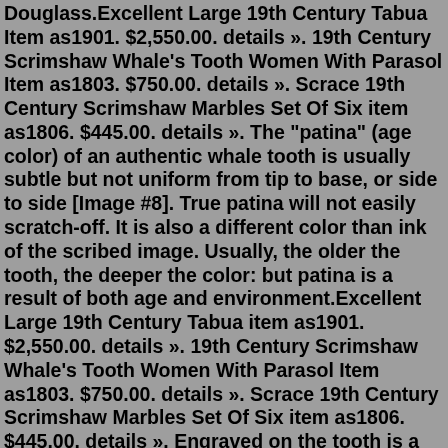Douglass.Excellent Large 19th Century Tabua Item as1901. $2,550.00. details ». 19th Century Scrimshaw Whale's Tooth Women With Parasol Item as1803. $750.00. details ». Scrace 19th Century Scrimshaw Marbles Set Of Six item as1806. $445.00. details ». The "patina" (age color) of an authentic whale tooth is usually subtle but not uniform from tip to base, or side to side [Image #8]. True patina will not easily scratch-off. It is also a different color than ink of the scribed image. Usually, the older the tooth, the deeper the color: but patina is a result of both age and environment.Excellent Large 19th Century Tabua item as1901. $2,550.00. details ». 19th Century Scrimshaw Whale's Tooth Women With Parasol Item as1803. $750.00. details ». Scrace 19th Century Scrimshaw Marbles Set Of Six item as1806. $445.00. details ». Engraved on the tooth is a picture of the ship Francis, which artist Fred Myrick served on during the early 1800s. Now, sperm whales are protected under the Marine Mammal Protection Act. So, in...SCRIMSHAW SPERM WHALE RESIN